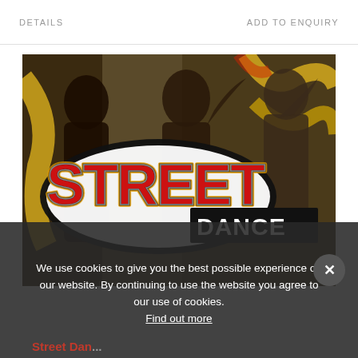DETAILS    ADD TO ENQUIRY
[Figure (photo): Street dance promotional image showing young people dancing in front of graffiti wall, with a large red and white 'STREET DANCE' graffiti-style logo overlaid on the image.]
We use cookies to give you the best possible experience on our website. By continuing to use the website you agree to our use of cookies.
Find out more
Street Danc...